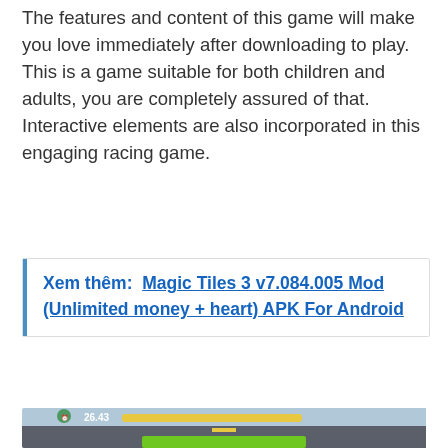The features and content of this game will make you love immediately after downloading to play. This is a game suitable for both children and adults, you are completely assured of that. Interactive elements are also incorporated in this engaging racing game.
Xem thêm:  Magic Tiles 3 v7.084.005 Mod (Unlimited money + heart) APK For Android
[Figure (screenshot): Screenshot of a motorcycle racing mobile game, showing a first-person view from a green motorcycle on a snowy highway with other cars, HUD elements including a timer showing 26:43 and speedometer.]